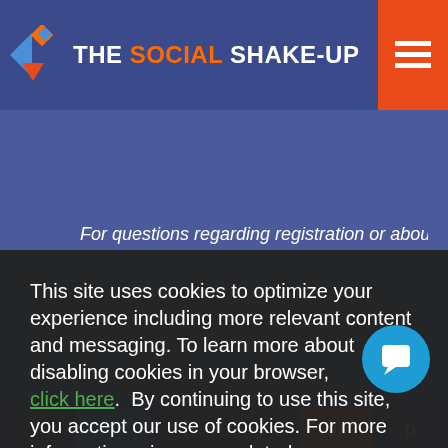THE SOCIAL SHAKE-UP
For questions regarding registration or about the Show,
This site uses cookies to optimize your experience including more relevant content and messaging. To learn more about disabling cookies in your browser, click here. By continuing to use this site, you accept our use of cookies. For more information, view our updated Privacy Policy.
I Consent